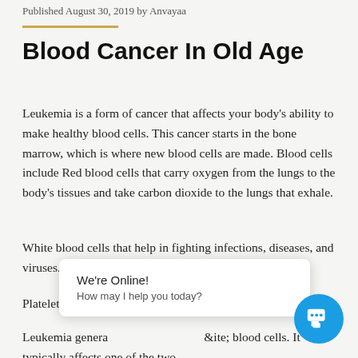Published August 30, 2019 by Anvayaa
Blood Cancer In Old Age
Leukemia is a form of cancer that affects your body's ability to make healthy blood cells. This cancer starts in the bone marrow, which is where new blood cells are made. Blood cells include Red blood cells that carry oxygen from the lungs to the body's tissues and take carbon dioxide to the lungs that exhale.
White blood cells that help in fighting infections, diseases, and viruses.
Platelets that help in clotting blood
Leukemia generally affects white blood cells. It typically affects one of the two